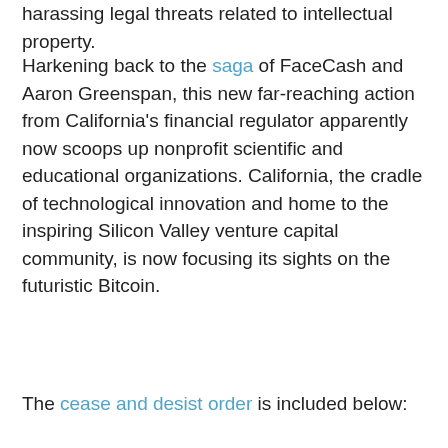harassing legal threats related to intellectual property.
Harkening back to the saga of FaceCash and Aaron Greenspan, this new far-reaching action from California's financial regulator apparently now scoops up nonprofit scientific and educational organizations. California, the cradle of technological innovation and home to the inspiring Silicon Valley venture capital community, is now focusing its sights on the futuristic Bitcoin.
The cease and desist order is included below: